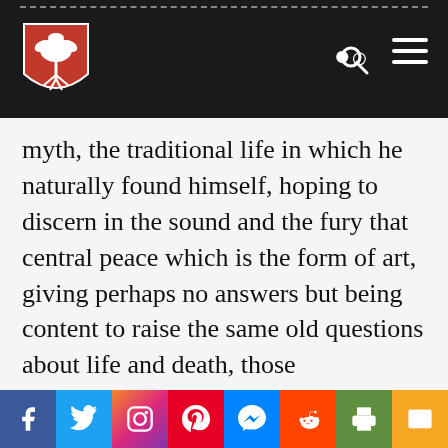[Website header with university shield logo, search icon, and navigation menu]
myth, the traditional life in which he naturally found himself, hoping to discern in the sound and the fury that central peace which is the form of art, giving perhaps no answers but being content to raise the same old questions about life and death, those imponderables, without examining which life would not be worth the living. Finally, the Southern artist's peculiar method may be seen as that of shaping
[Social share bar: Facebook, Twitter, Instagram, Pinterest, Messenger, Reddit, Print, Email]